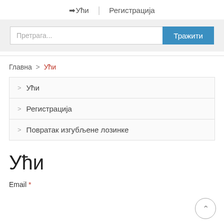➜Ући | Регистрација
[Figure (screenshot): Search bar with placeholder text 'Претрага...' and blue button labeled 'Тражити']
Главна >Ући
>Ући
> Регистрација
> Повратак изгубљене лозинке
Ући
Email *